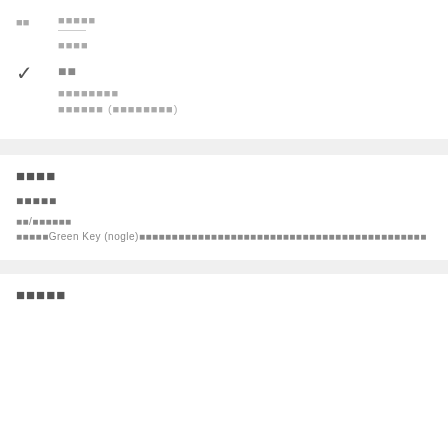■■ ■■■■■
■■■■
■■
■■■■■■■■
■■■■■■ (■■■■■■■■)
■■■■
■■■■■
■■/■■■■■■■
■■■■■Green Key (nogle)■■■■■■■■■■■■■■■■■■■■■■■■■■■■■■■■■■■■■■■■■■■■■■■■■■
■■■■■